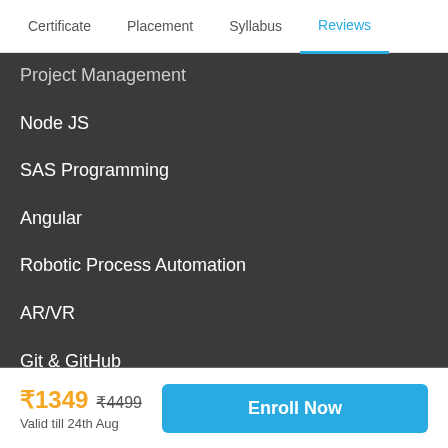Certificate  Placement  Syllabus  Reviews
Project Management
Node JS
SAS Programming
Angular
Robotic Process Automation
AR/VR
Git & GitHub
Voice App Development
How to Ace Coding Interviews
Full Stack Development Specialization
₹1349  ₹4499  Valid till 24th Aug  Enroll Now